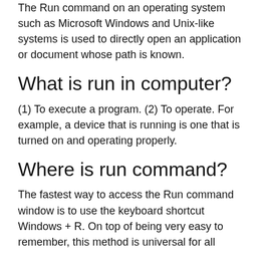The Run command on an operating system such as Microsoft Windows and Unix-like systems is used to directly open an application or document whose path is known.
What is run in computer?
(1) To execute a program. (2) To operate. For example, a device that is running is one that is turned on and operating properly.
Where is run command?
The fastest way to access the Run command window is to use the keyboard shortcut Windows + R. On top of being very easy to remember, this method is universal for all